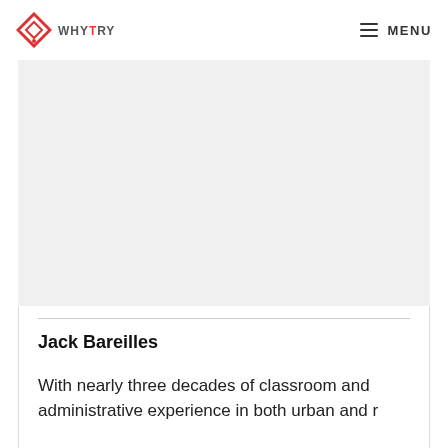WHYTRY — MENU
[Figure (photo): Image placeholder / photo area (gray rectangle, content not visible)]
Jack Bareilles
With nearly three decades of classroom and administrative experience in both urban and r…